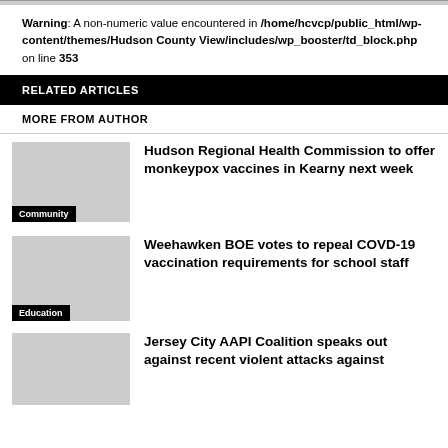Warning: A non-numeric value encountered in /home/hcvcp/public_html/wp-content/themes/Hudson County View/includes/wp_booster/td_block.php on line 353
RELATED ARTICLES
MORE FROM AUTHOR
Hudson Regional Health Commission to offer monkeypox vaccines in Kearny next week
Weehawken BOE votes to repeal COVD-19 vaccination requirements for school staff
Jersey City AAPI Coalition speaks out against recent violent attacks against